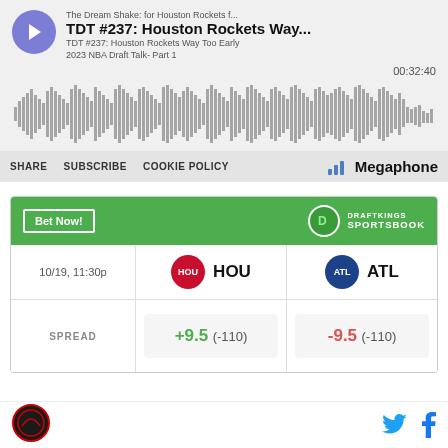[Figure (screenshot): Podcast player embed showing 'The Dream Shake: for Houston Rockets f...' podcast, episode 'TDT #237: Houston Rockets Way Too Early 2023 NBA Draft Talk- Part 1', duration 00:32:40, with waveform visualization, SHARE, SUBSCRIBE, COOKIE POLICY controls, and Megaphone branding]
[Figure (screenshot): DraftKings Sportsbook betting widget showing HOU vs ATL game on 10/19, 11:30p, with spread of +9.5 (-110) for HOU and -9.5 (-110) for ATL]
[Figure (logo): The Dream Shake podcast circular logo at bottom left]
[Figure (other): Twitter and Facebook social media icons at bottom right]